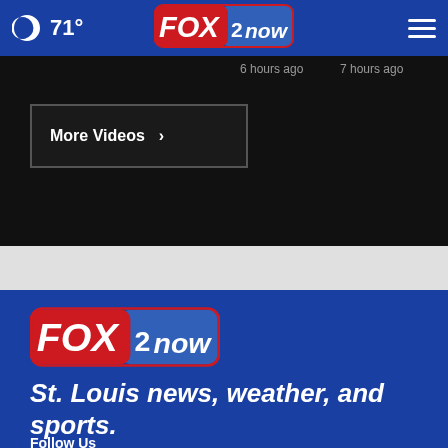🌙 71° FOX 2 NOW ≡
6 hours ago
7 hours ago
More Videos ▶
[Figure (logo): FOX 2 now logo - red and blue pill-shaped badge with white text]
St. Louis news, weather, and sports.
Follow Us